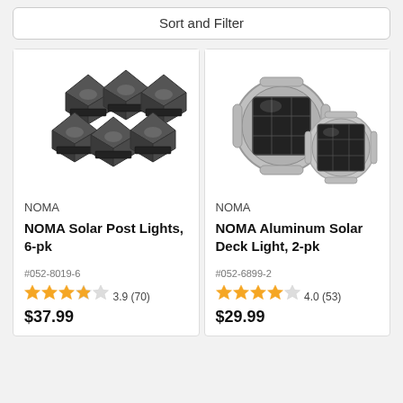Sort and Filter
[Figure (photo): Six black NOMA solar post lights grouped together, viewed from above at an angle, showing their square pyramid shape with transparent sides.]
NOMA
NOMA Solar Post Lights, 6-pk
#052-8019-6
3.9 (70)
$37.99
[Figure (photo): Two silver aluminum NOMA solar deck lights, circular with a solar panel visible on top, shown from above.]
NOMA
NOMA Aluminum Solar Deck Light, 2-pk
#052-6899-2
4.0 (53)
$29.99